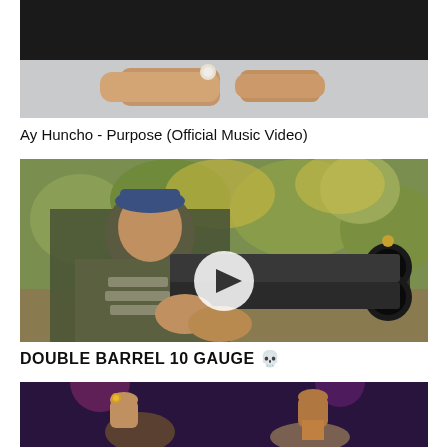[Figure (photo): Top portion of a video thumbnail showing hands resting on a light surface, partially cropped]
Ay Huncho - Purpose (Official Music Video)
[Figure (photo): Man in camouflage hoodie holding a double barrel shotgun pointed toward the camera, outdoors with trees in background, with a circular play button overlay in center]
DOUBLE BARREL 10 GAUGE 💀
[Figure (photo): Partially visible thumbnail showing two people with fists raised against a dark/purple background, cropped at bottom of page]